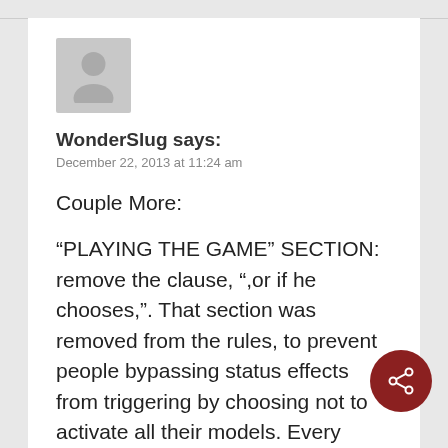WonderSlug says:
December 22, 2013 at 11:24 am
Couple More:
“PLAYING THE GAME” SECTION: remove the clause, “,or if he chooses,”. That section was removed from the rules, to prevent people bypassing status effects from triggering by choosing not to activate all their models. Every model must be activated during each player’s Active Phase.